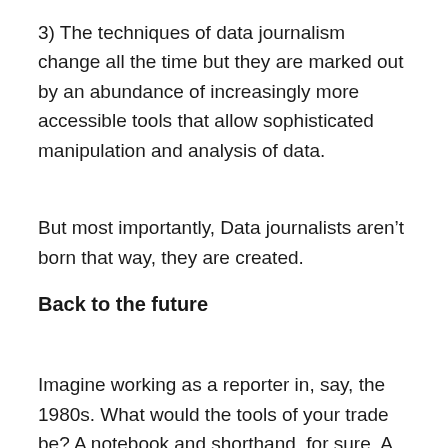3) The techniques of data journalism change all the time but they are marked out by an abundance of increasingly more accessible tools that allow sophisticated manipulation and analysis of data.
But most importantly, Data journalists aren't born that way, they are created.
Back to the future
Imagine working as a reporter in, say, the 1980s. What would the tools of your trade be? A notebook and shorthand, for sure. A cassette recorder for backup – probably a reel-to-reel if you worked in broadcast. You